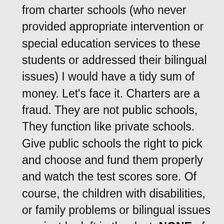from charter schools (who never provided appropriate intervention or special education services to these students or addressed their bilingual issues) I would have a tidy sum of money. Let's face it. Charters are a fraud. They are not public schools, They function like private schools. Give public schools the right to pick and choose and fund them properly and watch the test scores sore. Of course, the children with disabilities, or family problems or bilingual issues can just be left in the dust. NONE of your charters would succeed if you actually had to service students properly. If you